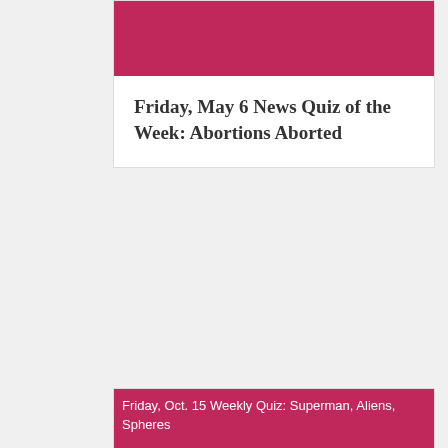[Figure (other): Pink/crimson banner image at top of first card]
Friday, May 6 News Quiz of the Week: Abortions Aborted
[Figure (photo): Large pink/crimson banner image for second card with broken image text: Friday, Oct. 15 Weekly Quiz: Superman, Aliens, Spheres]
Friday, Oct. 15 Weekly Quiz: